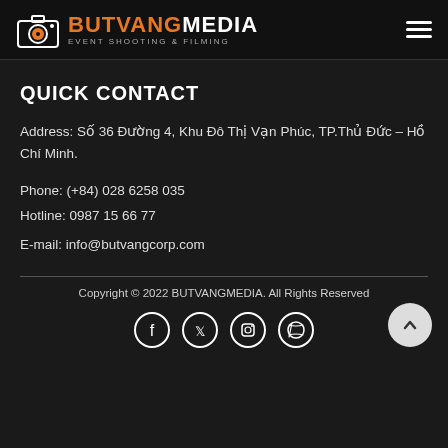BUTVANG MEDIA — EVENT SHOOTING & FILMING
QUICK CONTACT
Address: Số 36 Đường 4, Khu Đô Thị Vạn Phúc, TP.Thủ Đức – Hồ Chí Minh.
Phone: (+84) 028 6258 035
Hotline: 0987 15 66 77
E-mail: info@butvangcorp.com
Copyright © 2022 BUTVANGMEDIA. All Rights Reserved